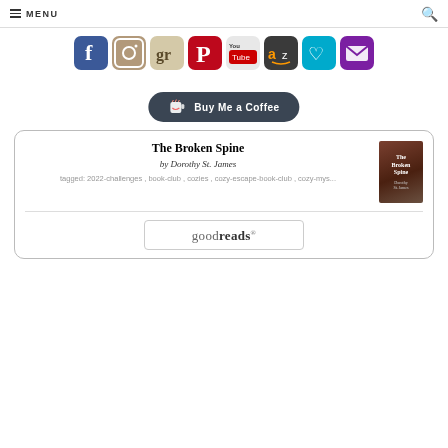MENU
[Figure (screenshot): Row of 8 social media icon buttons: Facebook, Instagram, Goodreads, Pinterest, YouTube, Amazon, a heart/Bloglovin icon, and an email envelope icon]
[Figure (infographic): Buy Me a Coffee button - dark rounded button with coffee cup icon and text 'Buy Me a Coffee']
The Broken Spine by Dorothy St. James tagged: 2022-challenges, book-club, cozies, cozy-escape-book-club, cozy-mys...
[Figure (screenshot): Goodreads button with rounded rectangle border and goodreads logo text]